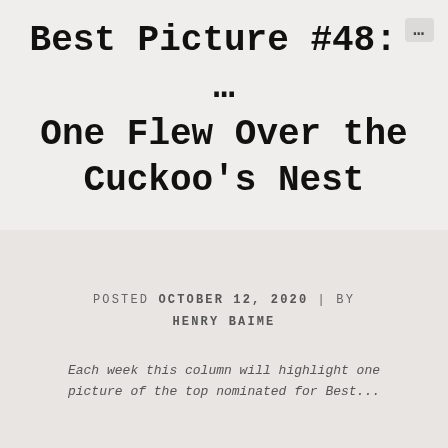Best Picture #48: … One Flew Over the Cuckoo's Nest
POSTED OCTOBER 12, 2020 | BY HENRY BAIME
Each week this column will highlight one picture of the top nominated for Best...